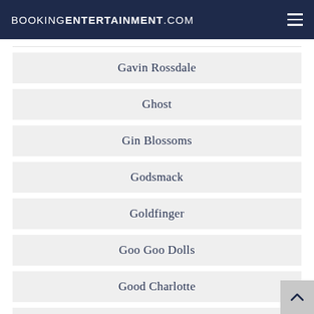BOOKINGENTERTAINMENT.COM
Gavin Rossdale
Ghost
Gin Blossoms
Godsmack
Goldfinger
Goo Goo Dolls
Good Charlotte
Grace Potter and the Nocturnals
Green Day